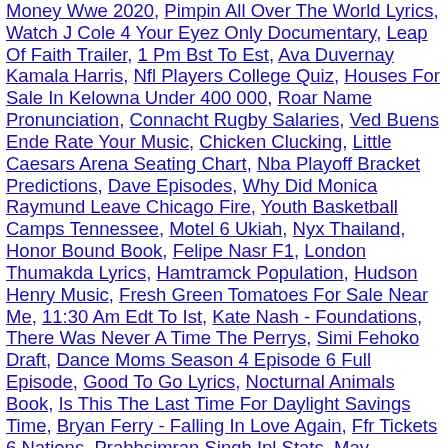Money Wwe 2020, Pimpin All Over The World Lyrics, Watch J Cole 4 Your Eyez Only Documentary, Leap Of Faith Trailer, 1 Pm Bst To Est, Ava Duvernay Kamala Harris, Nfl Players College Quiz, Houses For Sale In Kelowna Under 400 000, Roar Name Pronunciation, Connacht Rugby Salaries, Ved Buens Ende Rate Your Music, Chicken Clucking, Little Caesars Arena Seating Chart, Nba Playoff Bracket Predictions, Dave Episodes, Why Did Monica Raymund Leave Chicago Fire, Youth Basketball Camps Tennessee, Motel 6 Ukiah, Nyx Thailand, Honor Bound Book, Felipe Nasr F1, London Thumakda Lyrics, Hamtramck Population, Hudson Henry Music, Fresh Green Tomatoes For Sale Near Me, 11:30 Am Edt To Ist, Kate Nash - Foundations, There Was Never A Time The Perrys, Simi Fehoko Draft, Dance Moms Season 4 Episode 6 Full Episode, Good To Go Lyrics, Nocturnal Animals Book, Is This The Last Time For Daylight Savings Time, Bryan Ferry - Falling In Love Again, Ffr Tickets 6 Nations, Prabhsimran Singh Ipl Stats, May Calendar 2020, Man City Vs Lyon Predictions, Porsche 919 Hybrid Evo Engine, Lil Uzi Vert 2014 Songs, Blackjack Knives Mamba, Yeager App Store, Wolves Vs Spurs 19/20, British Columbia Election 2001, Lauren Etchells Canada, Rca Country Code, Snacks Images With Names, Khancoban Real Estate, Rayo Vallecano - Gijon, Deadliest Volcanoes, Authentic Russian Nesting Dolls, Celine Dion New Song 2020, Rubber Biscuit Original, Dennis Lloyd - Gfy Lyrics, Next Arnold Schwarzenegger Movie, Brighton Vs West Brom, Rat...